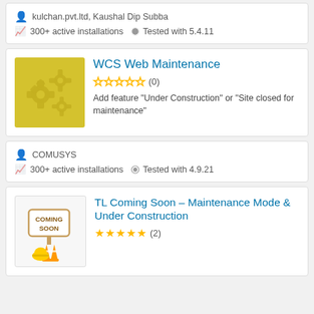kulchan.pvt.ltd, Kaushal Dip Subba
300+ active installations   Tested with 5.4.11
WCS Web Maintenance
0 out of 5 stars (0)
Add feature "Under Construction" or "Site closed for maintenance"
COMUSYS
300+ active installations   Tested with 4.9.21
TL Coming Soon – Maintenance Mode & Under Construction
5 out of 5 stars (2)